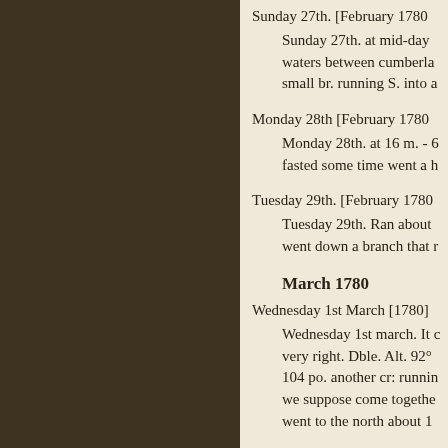Sunday 27th. [February 1780]
Sunday 27th. at mid-day waters between cumberla small br. running S. into a
Monday 28th [February 1780]
Monday 28th. at 16 m. - fasted some time went a h
Tuesday 29th. [February 1780]
Tuesday 29th. Ran about went down a branch that r
March 1780
Wednesday 1st March [1780]
Wednesday 1st march. It c very right. Dble. Alt. 92° 104 po. another cr: runnin we suppose come togethe went to the north about 1